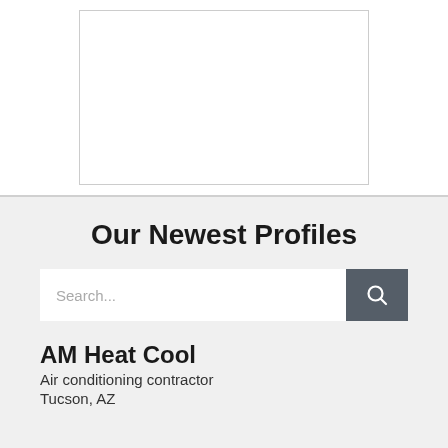[Figure (other): White rectangular image placeholder with a thin border, partially visible at the top of the page]
Our Newest Profiles
[Figure (screenshot): Search bar with placeholder text 'Search...' and a dark gray search button with a magnifying glass icon]
AM Heat Cool
Air conditioning contractor
Tucson, AZ